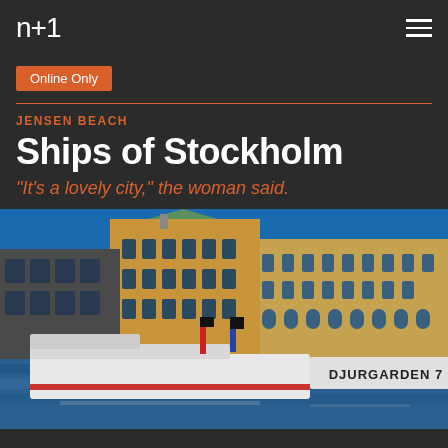n+1
Online Only
JENSEN BEACH
Ships of Stockholm
“It’s a lovely city,” the woman said.
[Figure (photo): Photograph of the Stockholm waterfront showing classic historic buildings with a red-tipped tower and green copper roof, a large stone building with arched windows, and a white passenger ferry named DJURGARDEN 7 docked in the foreground. Bright blue sky above.]